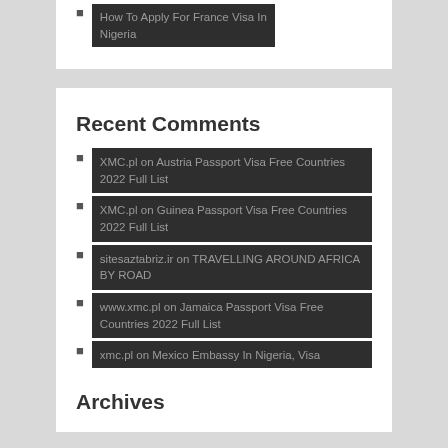How To Apply For France Visa In Nigeria
Recent Comments
XMC.pl on Austria Passport Visa Free Countries 2022 Full List
XMC.pl on Guinea Passport Visa Free Countries 2022 Full List
sitesaztabriz.ir on TRAVELLING AROUND AFRICA BY ROAD
www.xmc.pl on Jamaica Passport Visa Free Countries 2022 Full List
xmc.pl on Mexico Embassy In Nigeria, Visa Information
Archives